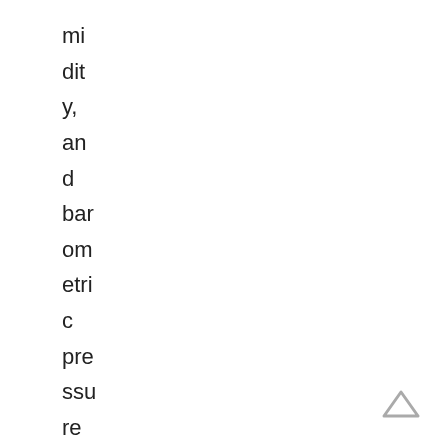mi dit y, an d bar om etri c pre ssu re an d he ad
[Figure (other): Navigation up-arrow icon in bottom right corner]